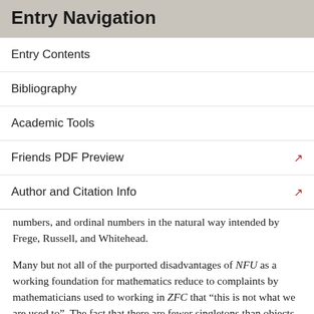Entry Navigation
Entry Contents
Bibliography
Academic Tools
Friends PDF Preview
Author and Citation Info
numbers, and ordinal numbers in the natural way intended by Frege, Russell, and Whitehead.
Many but not all of the purported disadvantages of NFU as a working foundation for mathematics reduce to complaints by mathematicians used to working in ZFC that “this is not what we are used to”. The fact that there are fewer singletons than objects (in spite of an obvious external one to one correspondence) takes getting used to. In otherwise familiar constructions, one sometimes has to make technical use of the singleton map or T operations to adjust types to get stratification. This author can testify